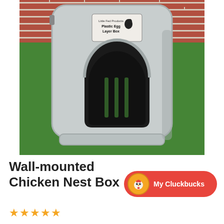[Figure (photo): A grey plastic wall-mounted chicken nest box photographed from above, sitting on green artificial grass in front of a red brick wall. The box has a rounded arch entrance opening, a label on top, and a removable tray at the bottom.]
Wall-mounted Chicken Nest Box
[Figure (logo): My Cluckbucks button: red rounded pill button with an orange circle icon showing a cartoon chicken, and white text reading 'My Cluckbucks']
★★★★★